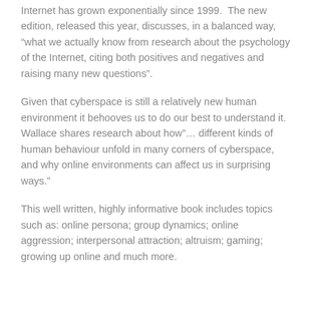Internet has grown exponentially since 1999.  The new edition, released this year, discusses, in a balanced way, “what we actually know from research about the psychology of the Internet, citing both positives and negatives and raising many new questions”.
Given that cyberspace is still a relatively new human environment it behooves us to do our best to understand it.  Wallace shares research about how”… different kinds of human behaviour unfold in many corners of cyberspace, and why online environments can affect us in surprising ways.”
This well written, highly informative book includes topics such as: online persona; group dynamics; online aggression; interpersonal attraction; altruism; gaming; growing up online and much more.